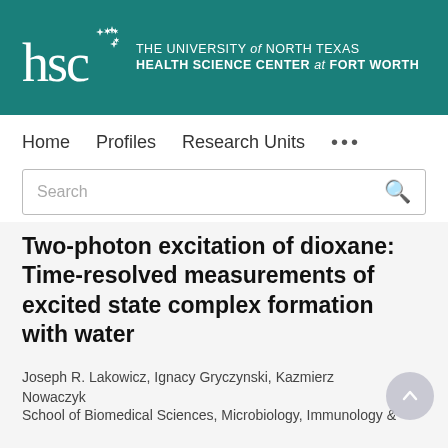[Figure (logo): HSC - The University of North Texas Health Science Center at Fort Worth logo on teal background]
Home   Profiles   Research Units   ...
Search
Two-photon excitation of dioxane: Time-resolved measurements of excited state complex formation with water
Joseph R. Lakowicz, Ignacy Gryczynski, Kazmierz Nowaczyk
School of Biomedical Sciences, Microbiology, Immunology &